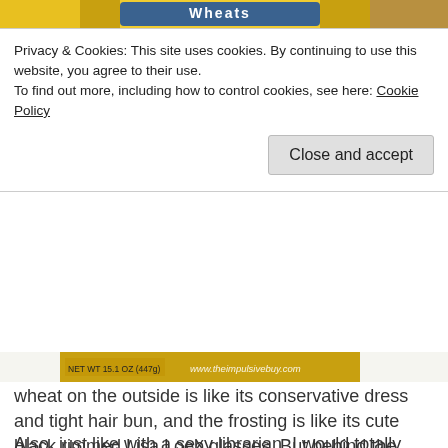[Figure (photo): Top portion of a cereal box product image (Frosted Mini-Wheats), showing yellow packaging with the product logo partially visible at the top of the page.]
Privacy & Cookies: This site uses cookies. By continuing to use this website, you agree to their use.
To find out more, including how to control cookies, see here: Cookie Policy
Close and accept
[Figure (photo): Bottom portion of cereal box showing NET WT 15.1 OZ (447g) label and www.theimpulsivebuy.com watermark on a yellow/tan background.]
wheat on the outside is like its conservative dress and tight hair bun, and the frosting is like its cute black rimmed Lisa Loeb glasses. But behind the frosting and within the shredded wheat is its sexy cinnamon ready to be unleashed so that it can rock my tongue and punish me for talking in the library, turning in books overdue, or not knowing how the Dewey Decimal System works.
Also, just like with a sexy librarian, I would totally read L. Ron Hubbard's ten volume Mission Earth